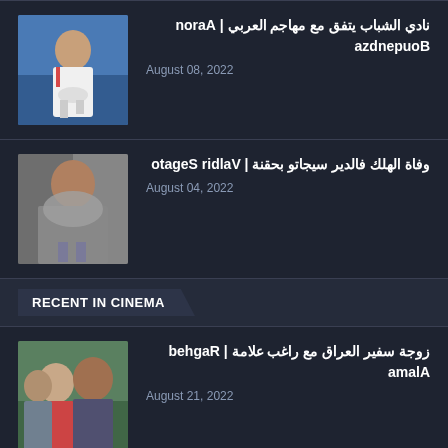[Figure (photo): Soccer player in white uniform kicking on a stadium field]
نادي الشباب يتفق مع مهاجم العربي | Aaron Boupendza
August 08, 2022
[Figure (photo): Very muscular shirtless man outdoors, black and white wall background]
وفاة الهلك فالدير سيجاتو بحقنة | Valdir Segato
August 04, 2022
RECENT IN CINEMA
[Figure (photo): Group photo of people outdoors, woman in red dress]
زوجة سفير العراق مع راغب علامة | Ragheb Alama
August 21, 2022
[Figure (photo): Partial photo at bottom of page, dark image]
...Jordan | ...